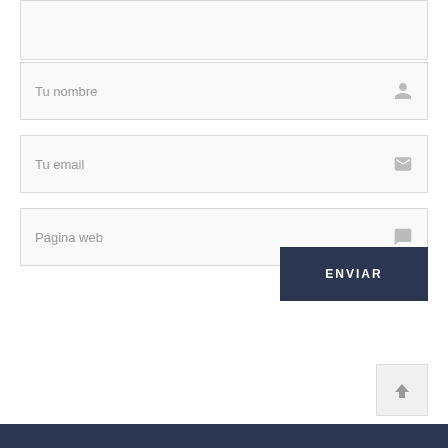[Figure (screenshot): Empty text area input field at the top of a web comment form]
Tu nombre
Tu email
Página web
ENVIAR
[Figure (other): Scroll-to-top button with upward arrow icon]